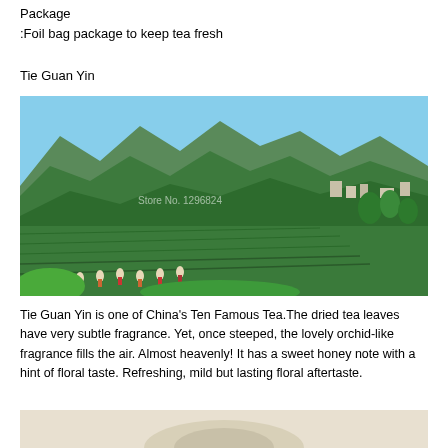Package
:Foil bag package to keep tea fresh
Tie Guan Yin
[Figure (photo): Tea plantation with workers harvesting tea on green terraced hillsides with mountains and buildings in the background. Watermark: Store No. 1296824]
Tie Guan Yin is one of China's Ten Famous Tea.The dried tea leaves have very subtle fragrance. Yet, once steeped, the lovely orchid-like fragrance fills the air. Almost heavenly! It has a sweet honey note with a hint of floral taste. Refreshing, mild but lasting floral aftertaste.
[Figure (photo): Bottom partial image of tea product/cup]